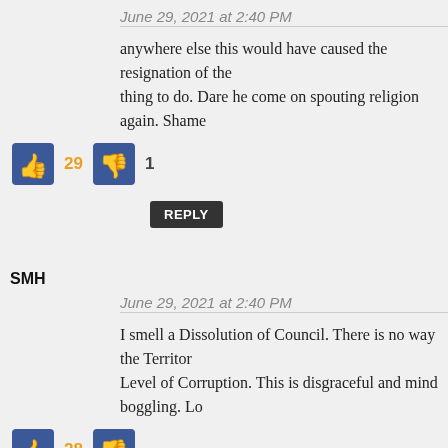June 29, 2021 at 2:40 PM
anywhere else this would have caused the resignation of the thing to do. Dare he come on spouting religion again. Shame
29  1
REPLY
SMH
June 29, 2021 at 2:40 PM
I smell a Dissolution of Council. There is no way the Territory Level of Corruption. This is disgraceful and mind boggling. Lo
28
REPLY
Ric Al